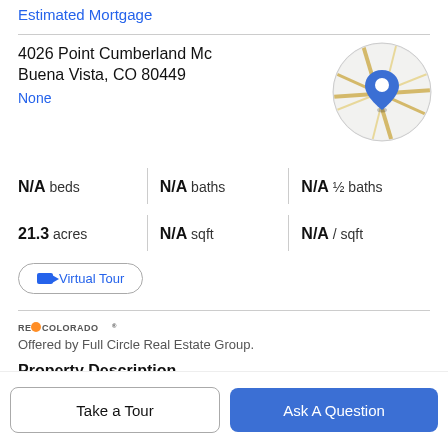Estimated Mortgage
4026 Point Cumberland Mc
Buena Vista, CO 80449
None
[Figure (map): Circular map thumbnail showing a location pin on a road map]
N/A beds | N/A baths | N/A ½ baths
21.3 acres | N/A sqft | N/A / sqft
Virtual Tour
[Figure (logo): RE/COLORADO logo with flame icon]
Offered by Full Circle Real Estate Group.
Property Description
Take a Tour
Ask A Question